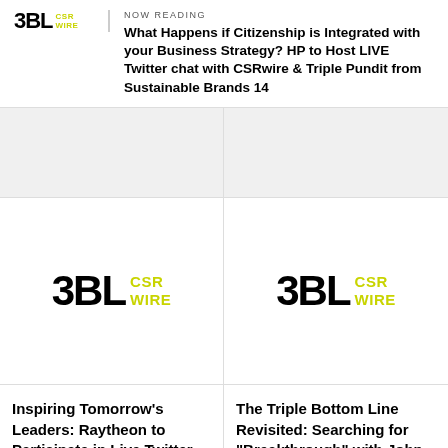NOW READING
What Happens if Citizenship is Integrated with your Business Strategy? HP to Host LIVE Twitter chat with CSRwire & Triple Pundit from Sustainable Brands 14
[Figure (logo): 3BL CSRwire logo - top left card image area]
[Figure (logo): 3BL CSRwire logo - top right card image area]
Inspiring Tomorrow’s Leaders: Raytheon to Participate in Live Twitter Chat with CSRwire and TriplePundit
The Triple Bottom Line Revisited: Searching for “Breakthrough” with John Elkington